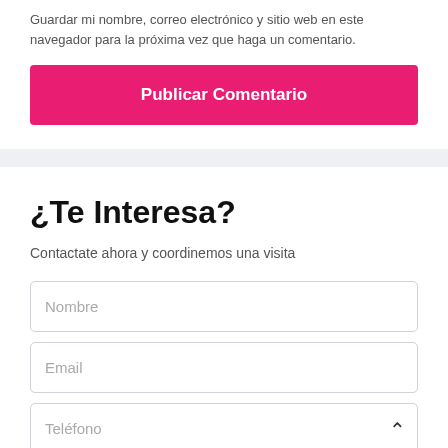Guardar mi nombre, correo electrónico y sitio web en este navegador para la próxima vez que haga un comentario.
Publicar Comentario
¿Te Interesa?
Contactate ahora y coordinemos una visita
Nombre
Email
Teléfono